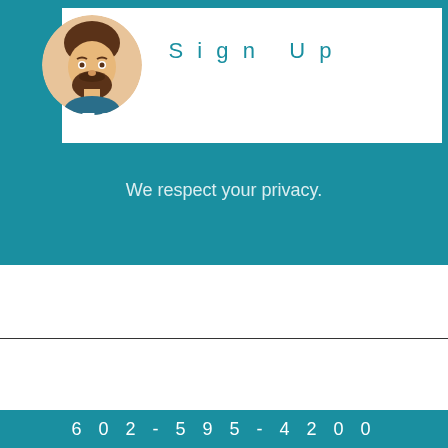Sign Up
[Figure (illustration): Cartoon avatar of a bearded man with brown hair, circular profile image]
RESIDENTIAL
We respect your privacy.
602-595-4200